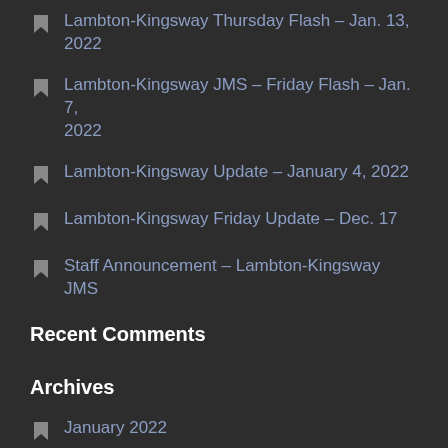Lambton-Kingsway Thursday Flash – Jan. 13, 2022
Lambton-Kingsway JMS – Friday Flash – Jan. 7, 2022
Lambton-Kingsway Update – January 4, 2022
Lambton-Kingsway Friday Update – Dec. 17
Staff Announcement – Lambton-Kingsway JMS
Recent Comments
Archives
January 2022
December 2021